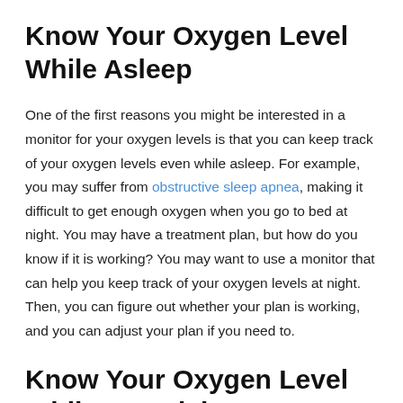Know Your Oxygen Level While Asleep
One of the first reasons you might be interested in a monitor for your oxygen levels is that you can keep track of your oxygen levels even while asleep. For example, you may suffer from obstructive sleep apnea, making it difficult to get enough oxygen when you go to bed at night. You may have a treatment plan, but how do you know if it is working? You may want to use a monitor that can help you keep track of your oxygen levels at night. Then, you can figure out whether your plan is working, and you can adjust your plan if you need to.
Know Your Oxygen Level While Exercising